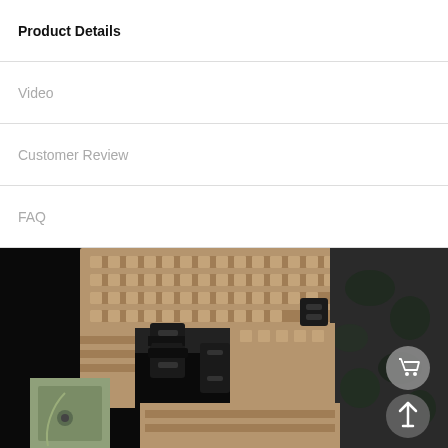Product Details
Video
Customer Review
FAQ
[Figure (photo): Close-up photograph of a tan/coyote tactical plate carrier vest with MOLLE webbing, black buckles and straps, a holster, and additional pouches. Two circular UI buttons (shopping cart and up-arrow) are overlaid in the bottom-right corner.]